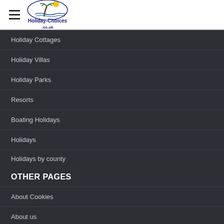[Figure (logo): Holiday-Choices.co.uk logo with palm tree and sun illustration]
Holiday Cottages
Holiday Villas
Holiday Parks
Resorts
Boating Holidays
Holidays
Holidays by county
OTHER PAGES
About Cookies
About us